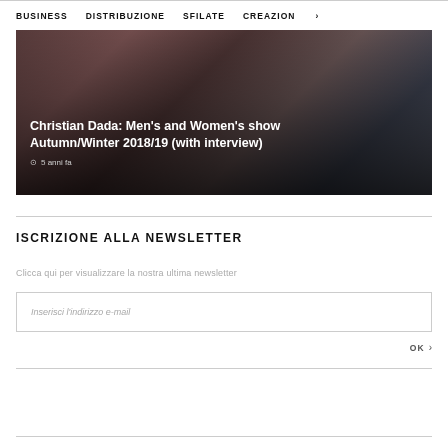BUSINESS   DISTRIBUZIONE   SFILATE   CREAZION   >
[Figure (photo): Fashion show image with dark overlay. White text overlaid: 'Christian Dada: Men's and Women's show Autumn/Winter 2018/19 (with interview)' and timestamp '5 anni fa']
ISCRIZIONE ALLA NEWSLETTER
Clicca qui per visualizzare la nostra ultima newsletter
Inserisci l'indirizzo e-mail
OK >